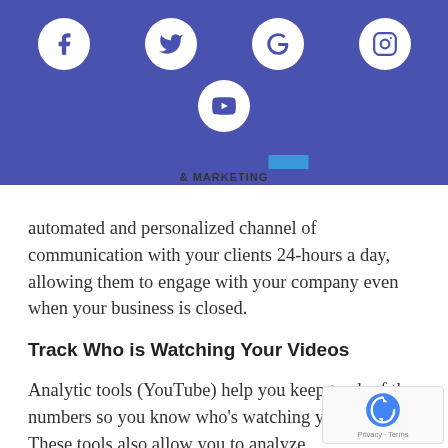[Figure (other): Blue header bar with social media icons: Facebook, Twitter, Google, Instagram (top row) and YouTube (second row), plus a partial logo showing '& MARKETING' text below the bar]
automated and personalized channel of communication with your clients 24-hours a day, allowing them to engage with your company even when your business is closed.
Track Who is Watching Your Videos
Analytic tools (YouTube) help you keep track of the numbers so you know who's watching your videos. These tools also allow you to analyze